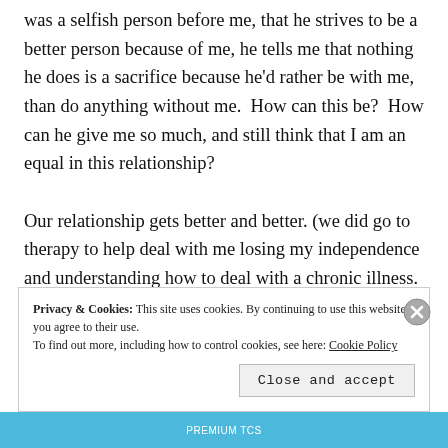was a selfish person before me, that he strives to be a better person because of me, he tells me that nothing he does is a sacrifice because he'd rather be with me, than do anything without me.  How can this be?  How can he give me so much, and still think that I am an equal in this relationship?

Our relationship gets better and better. (we did go to therapy to help deal with me losing my independence and understanding how to deal with a chronic illness.
Privacy & Cookies: This site uses cookies. By continuing to use this website, you agree to their use.
To find out more, including how to control cookies, see here: Cookie Policy
Close and accept